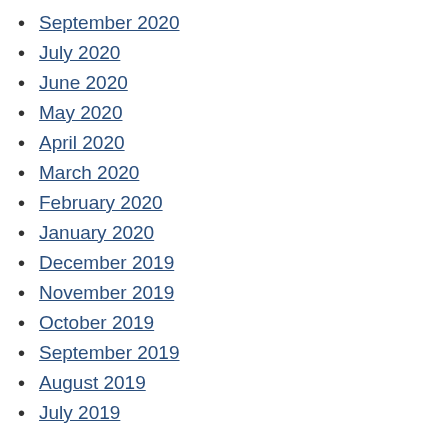September 2020
July 2020
June 2020
May 2020
April 2020
March 2020
February 2020
January 2020
December 2019
November 2019
October 2019
September 2019
August 2019
July 2019